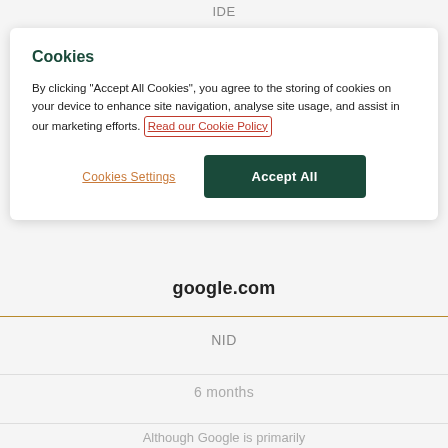IDE
[Figure (screenshot): Cookie consent dialog with title 'Cookies', body text about accepting cookies, a 'Read our Cookie Policy' link, a 'Cookies Settings' button, and a green 'Accept All' button]
google.com
NID
6 months
Although Google is primarily